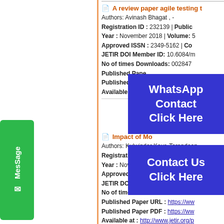A review paper agile testing t... Authors: Avinash Bhagat , - Registration ID : 232139 | Public... Year : November 2018 | Volume: ... Approved ISSN : 2349-5162 | Co... JETIR DOI Member ID: 10.6084/m... No of times Downloads: 002847... Published Paper URL : ... Published Paper PDF : ... Available at : ht...
[Figure (screenshot): WhatsApp Contact Click Here overlay button in blue]
[Figure (screenshot): Contact Us Click Here overlay button in blue]
Impact of Mo... Authors: Kulwinder Kaur, Tarandeep... Registration ID : 232137 | Public... Year : November 2018 | Volume: ... Approved ISSN : 2349-5162 | Co... JETIR DOI Member ID: 10.6084/m... No of times Downloads: 002838 Published Paper URL : https://ww... Published Paper PDF : https://ww... Available at : http://www.jetir.org/p...